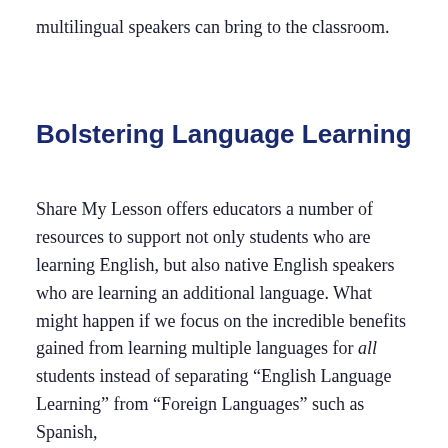multilingual speakers can bring to the classroom.
Bolstering Language Learning
Share My Lesson offers educators a number of resources to support not only students who are learning English, but also native English speakers who are learning an additional language. What might happen if we focus on the incredible benefits gained from learning multiple languages for all students instead of separating “English Language Learning” from “Foreign Languages” such as Spanish,